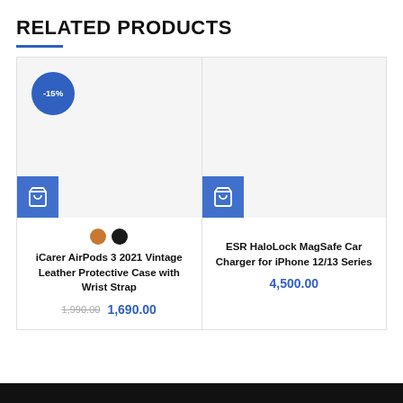RELATED PRODUCTS
[Figure (illustration): Product card for iCarer AirPods 3 2021 Vintage Leather Protective Case with Wrist Strap, showing -15% badge, color swatches (brown, black), cart button, old price 1,990.00 and new price 1,690.00]
[Figure (illustration): Product card for ESR HaloLock MagSafe Car Charger for iPhone 12/13 Series, showing cart button and price 4,500.00]